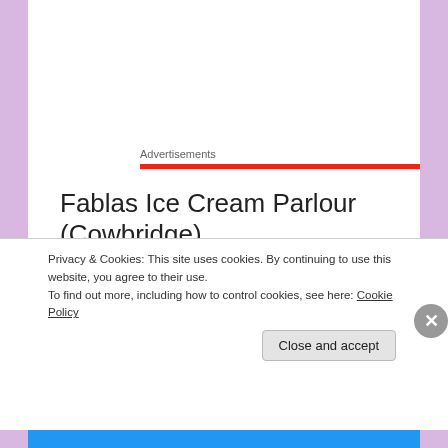Advertisements
Fablas Ice Cream Parlour (Cowbridge)
Doughnutology (Summerhill)
Royal Halls Patisserie (Church Village)
Coco Gelato (Cardiff)
Bru Coffee & Gelato (Cardiff)
Privacy & Cookies: This site uses cookies. By continuing to use this website, you agree to their use.
To find out more, including how to control cookies, see here: Cookie Policy
Close and accept